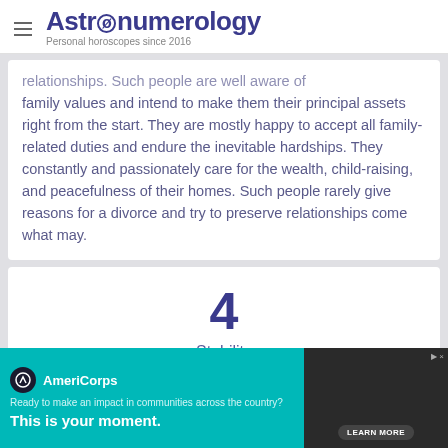Astronumerology — Personal horoscopes since 2016
relationships. Such people are well aware of family values and intend to make them their principal assets right from the start. They are mostly happy to accept all family-related duties and endure the inevitable hardships. They constantly and passionately care for the wealth, child-raising, and peacefulness of their homes. Such people rarely give reasons for a divorce and try to preserve relationships come what may.
4
Stability